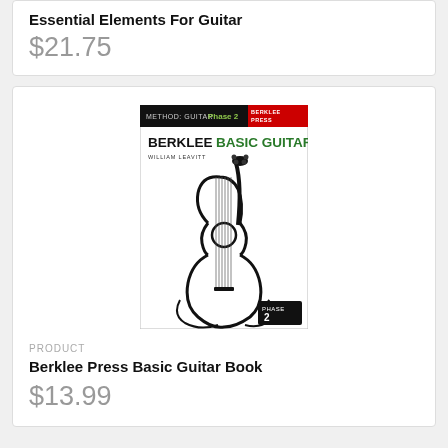Essential Elements For Guitar
$21.75
[Figure (photo): Book cover of Berklee Basic Guitar by William Leavitt, Phase 2, published by Berklee Press. Black and white illustration of a guitar on white background with black header bar showing 'METHOD: GUITAR Phase 2' and red 'BERKLEE PRESS' label. Green text reads 'BERKLEE BASIC GUITAR'. Black box in lower right reads 'PHASE 2'.]
PRODUCT
Berklee Press Basic Guitar Book
$13.99